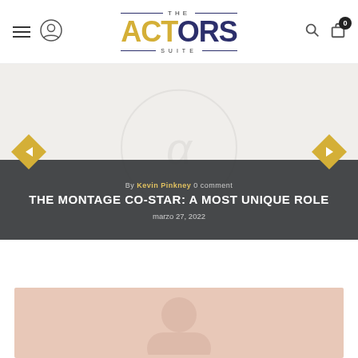[Figure (logo): The Actors Suite logo with navigation bar including hamburger menu, user icon, search icon, and cart icon with 0 badge]
[Figure (illustration): Hero slider with light beige background showing faint Actors Suite watermark/alpha logo, yellow diamond navigation arrows on left and right, dark overlay strip at bottom]
By Kevin Pinkney 0 comment
THE MONTAGE CO-STAR: A MOST UNIQUE ROLE
marzo 27, 2022
[Figure (photo): Partial bottom photo teaser showing a person, pinkish-beige tones, cropped at bottom of page]